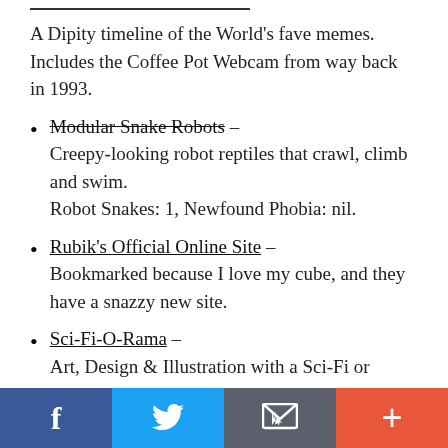A Dipity timeline of the World's fave memes. Includes the Coffee Pot Webcam from way back in 1993.
Modular Snake Robots – Creepy-looking robot reptiles that crawl, climb and swim. Robot Snakes: 1, Newfound Phobia: nil.
Rubik's Official Online Site – Bookmarked because I love my cube, and they have a snazzy new site.
Sci-Fi-O-Rama – Art, Design & Illustration with a Sci-Fi or Fantasy Slant.
Signalnoise.com | The art of James White – Stunning 'ultra-vivid' artwork. I'm rooting for this guy to do the Tron Legacy poster